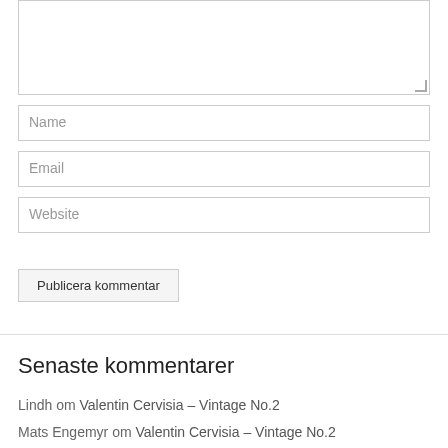[Figure (screenshot): A web comment form with a textarea, Name, Email, Website input fields, and a 'Publicera kommentar' submit button]
Senaste kommentarer
Lindh om Valentin Cervisia – Vintage No.2
Mats Engemyr om Valentin Cervisia – Vintage No.2
Lindh om Tvåhundra liter Sommarhelles med Brewtools B80Pro (H28)